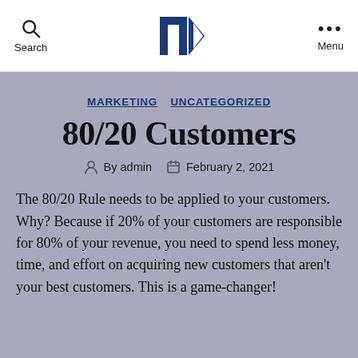Search | NB Logo | Menu
MARKETING   UNCATEGORIZED
80/20 Customers
By admin   February 2, 2021
The 80/20 Rule needs to be applied to your customers. Why? Because if 20% of your customers are responsible for 80% of your revenue, you need to spend less money, time, and effort on acquiring new customers that aren’t your best customers. This is a game-changer!